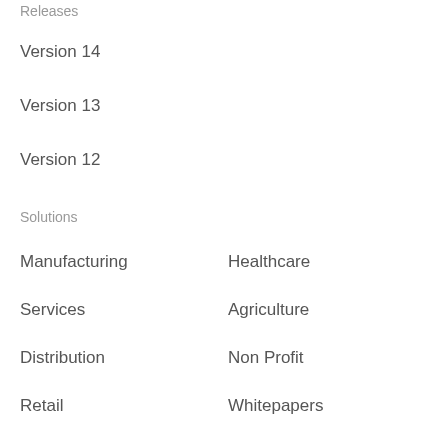Releases
Version 14
Version 13
Version 12
Solutions
Manufacturing
Healthcare
Services
Agriculture
Distribution
Non Profit
Retail
Whitepapers
Education
ERPNext
Frappe School
Forum
Blog
Security